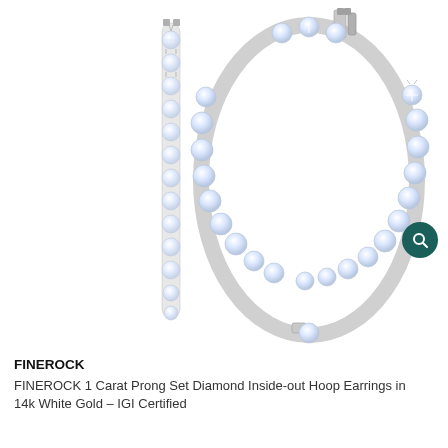[Figure (photo): Product photo of FINEROCK diamond hoop earrings. Left earring shown as a straight vertical bar/stick view with prong-set round diamonds. Right earring shown as a full hoop (inside-out hoop style) with prong-set round brilliant diamonds covering the inside and outside, with a hinged clasp visible at the top. Both on white background.]
FINEROCK
FINEROCK 1 Carat Prong Set Diamond Inside-out Hoop Earrings in 14k White Gold – IGI Certified